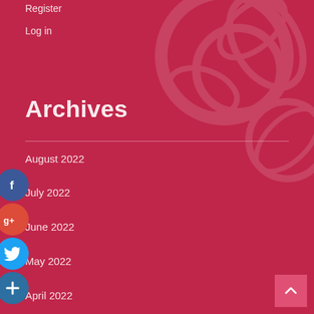Register
Log in
Archives
August 2022
July 2022
June 2022
May 2022
April 2022
March 2022
[Figure (infographic): Social media share buttons: Facebook (blue circle), Google+ (red circle), Twitter (light blue circle), Add/Plus (dark blue circle)]
[Figure (other): Scroll-to-top button (pink square with upward chevron)]